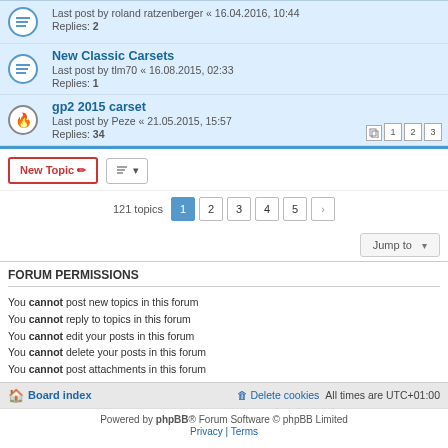Last post by roland ratzenberger « 16.04.2016, 10:44 Replies: 2
New Classic Carsets — Last post by tlm70 « 16.08.2015, 02:33 Replies: 1
gp2 2015 carset — Last post by Peze « 21.05.2015, 15:57 Replies: 34 — Pages: 1 2 3
New Topic | sort | 121 topics — pages: 1 2 3 4 5 >
Jump to
FORUM PERMISSIONS
You cannot post new topics in this forum
You cannot reply to topics in this forum
You cannot edit your posts in this forum
You cannot delete your posts in this forum
You cannot post attachments in this forum
Board index | Delete cookies | All times are UTC+01:00
Powered by phpBB® Forum Software © phpBB Limited
Privacy | Terms